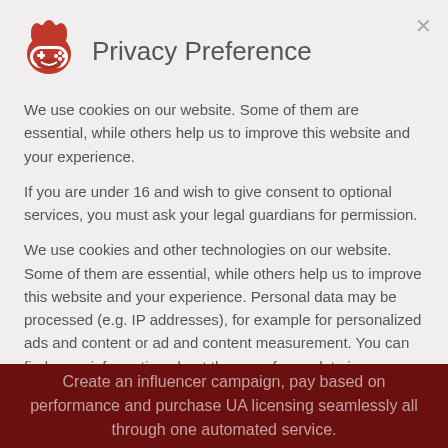Privacy Preference
We use cookies on our website. Some of them are essential, while others help us to improve this website and your experience.
If you are under 16 and wish to give consent to optional services, you must ask your legal guardians for permission.
We use cookies and other technologies on our website. Some of them are essential, while others help us to improve this website and your experience. Personal data may be processed (e.g. IP addresses), for example for personalized ads and content or ad and content measurement. You can find more information about the use of your data in our privacy policy. You can revoke or adjust your selection at any time under Settings
Essential
Statistics
External Media
Create an influencer campaign, pay based on performance and purchase UA licensing seamlessly all through one automated service.